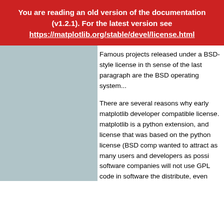You are reading an old version of the documentation (v1.2.1). For the latest version see https://matplotlib.org/stable/devel/license.html
Famous projects released under a BSD-style license in the sense of the last paragraph are the BSD operating system...
There are several reasons why early matplotlib developers chose a BSD compatible license. matplotlib is a python extension, and was based on a license that was based on the python license (BSD compatible). They wanted to attract as many users and developers as possible. Many software companies will not use GPL code in software they distribute, even those that are highly committed to open source development, such as enthought, out of legitimate concerns that the GPL will "infect" their code base by its viral nature. In effect, they retain the right to release some proprietary code. Companies and institutions who use matplotlib often make significant contributions when they have the resources to get a job done, even a boring one; matplotlib backends (FLTK and WX) were contributed by software companies. The final reason behind the licensing choice is consistency with the other python extensions for scientific computing: scipy, the enthought tool suite and python itself are all dis...